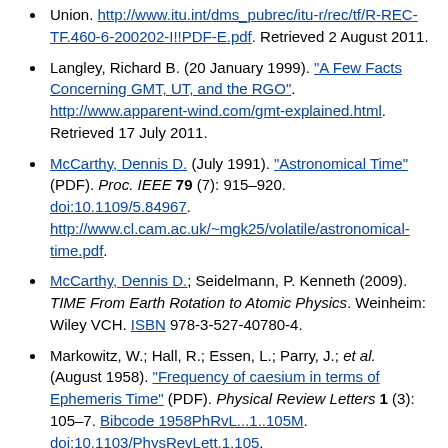Union. http://www.itu.int/dms_pubrec/itu-r/rec/tf/R-REC-TF.460-6-200202-I!!PDF-E.pdf. Retrieved 2 August 2011.
Langley, Richard B. (20 January 1999). "A Few Facts Concerning GMT, UT, and the RGO". http://www.apparent-wind.com/gmt-explained.html. Retrieved 17 July 2011.
McCarthy, Dennis D. (July 1991). "Astronomical Time" (PDF). Proc. IEEE 79 (7): 915–920. doi:10.1109/5.84967. http://www.cl.cam.ac.uk/~mgk25/volatile/astronomical-time.pdf.
McCarthy, Dennis D.; Seidelmann, P. Kenneth (2009). TIME From Earth Rotation to Atomic Physics. Weinheim: Wiley VCH. ISBN 978-3-527-40780-4.
Markowitz, W.; Hall, R.; Essen, L.; Parry, J.; et al. (August 1958). "Frequency of caesium in terms of Ephemeris Time" (PDF). Physical Review Letters 1 (3): 105–7. Bibcode 1958PhRvL...1..105M. doi:10.1103/PhysRevLett.1.105. http://www.leapsecond.com/history/1958-PhysRev-v1-n3-Markowitz-Hall-Essen-Parry.pdf. Retrieved 18 October 2008.
Markowitz, Wm. (1988). "Comparisons of ET(Solar), ET(Lunar), UT and TDT". In Babcock, A. K.; Wilkins, G. A.. The Earth's Rotation and Reference Frames for Geodesy and Geophysicss: Proceedings of the 109th Symposium of the International Astronomical Union...